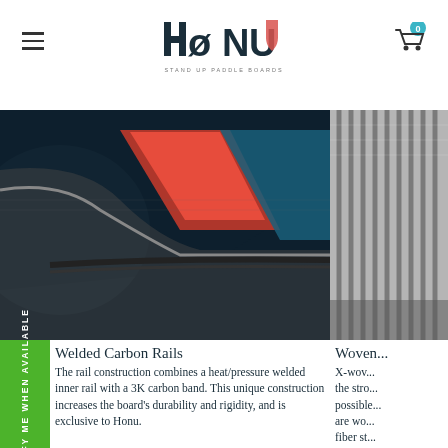HONU STAND UP PADDLE BOARDS
[Figure (photo): Close-up of a paddleboard rail showing carbon construction with red and dark blue elements]
[Figure (photo): Close-up of woven carbon fiber texture on a paddleboard]
Welded Carbon Rails
The rail construction combines a heat/pressure welded inner rail with a 3K carbon band. This unique construction increases the board's durability and rigidity, and is exclusive to Honu.
Woven...
X-wov... the stro... possible... are wo... fiber st... knitted... stiffer,...